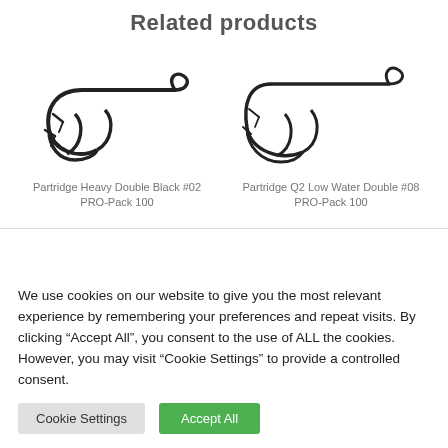Related products
[Figure (photo): Partridge Heavy Double Black fishing hook, double hook with barbs, dark metallic finish, viewed from side]
Partridge Heavy Double Black #02 PRO-Pack 100
[Figure (photo): Partridge Q2 Low Water Double fishing hook, double hook with barbs, dark metallic finish, viewed from side]
Partridge Q2 Low Water Double #08 PRO-Pack 100
We use cookies on our website to give you the most relevant experience by remembering your preferences and repeat visits. By clicking “Accept All”, you consent to the use of ALL the cookies. However, you may visit “Cookie Settings” to provide a controlled consent.
Cookie Settings
Accept All